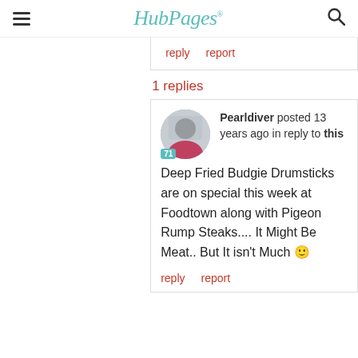HubPages
reply   report
1 replies
Pearldiver posted 13 years ago in reply to this

Deep Fried Budgie Drumsticks are on special this week at Foodtown along with Pigeon Rump Steaks.... It Might Be Meat.. But It isn't Much 🙂

reply   report